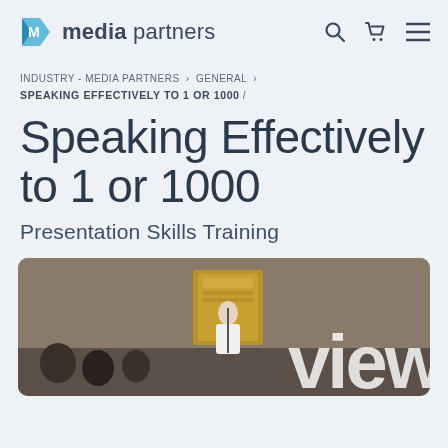media partners
INDUSTRY - MEDIA PARTNERS > GENERAL > SPEAKING EFFECTIVELY TO 1 OR 1000 /
Speaking Effectively to 1 or 1000
Presentation Skills Training
[Figure (screenshot): Video preview thumbnail showing a woman speaking at a podium in a conference or event hall, with the word 'view' (part of 'preview') overlaid in large white text at the bottom right.]